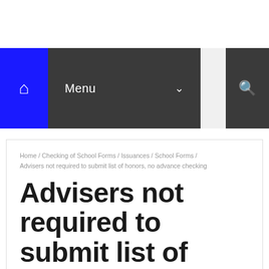Menu
Home / Checking of School Forms / Issuances / School Forms / Advisers not required to submit list of honors, no advance checking
Advisers not required to submit list of honors, no advance checking